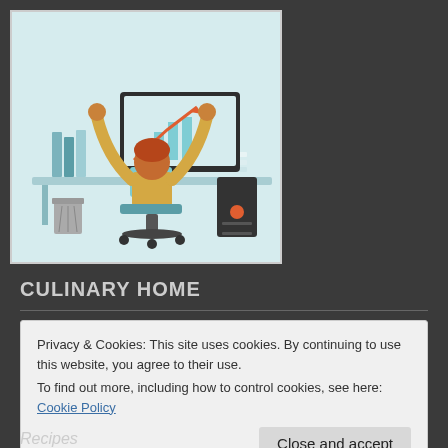[Figure (illustration): Flat illustration of a person sitting at a desk with arms raised in celebration, facing a computer monitor showing an upward trend chart with a red arrow. Office setting with books, papers, and a computer tower.]
CULINARY HOME
Privacy & Cookies: This site uses cookies. By continuing to use this website, you agree to their use.
To find out more, including how to control cookies, see here: Cookie Policy
Recipes